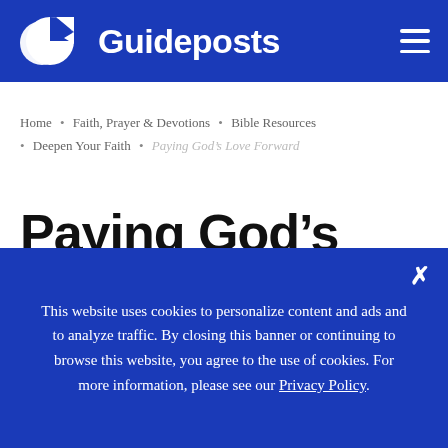Guideposts
Home • Faith, Prayer & Devotions • Bible Resources • Deepen Your Faith • Paying God's Love Forward
Paying God's Love Forward
This website uses cookies to personalize content and ads and to analyze traffic. By closing this banner or continuing to browse this website, you agree to the use of cookies. For more information, please see our Privacy Policy.